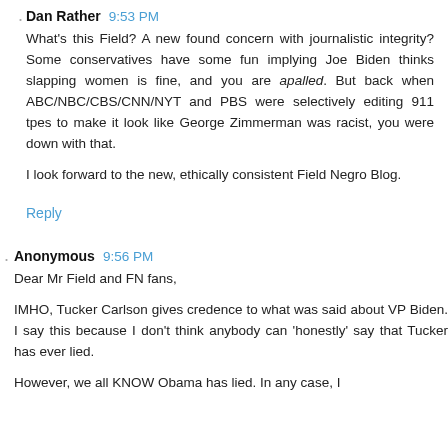Dan Rather  9:53 PM
What's this Field? A new found concern with journalistic integrity? Some conservatives have some fun implying Joe Biden thinks slapping women is fine, and you are apalled. But back when ABC/NBC/CBS/CNN/NYT and PBS were selectively editing 911 tpes to make it look like George Zimmerman was racist, you were down with that.

I look forward to the new, ethically consistent Field Negro Blog.
Reply
Anonymous  9:56 PM
Dear Mr Field and FN fans,

IMHO, Tucker Carlson gives credence to what was said about VP Biden. I say this because I don't think anybody can 'honestly' say that Tucker has ever lied.

However, we all KNOW Obama has lied. In any case, I